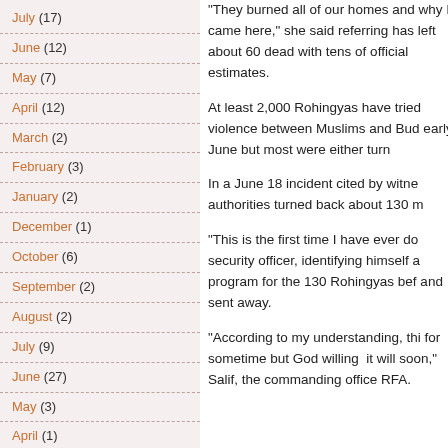July (17)
June (12)
May (7)
April (12)
March (2)
February (3)
January (2)
December (1)
October (6)
September (2)
August (2)
July (9)
June (27)
May (3)
April (1)
"They burned all of our homes and why I came here," she said referring has left about 60 dead with tens of official estimates.
At least 2,000 Rohingyas have tried violence between Muslims and Bud early June but most were either turn
In a June 18 incident cited by witne authorities turned back about 130 m
"This is the first time I have ever do security officer, identifying himself a program for the 130 Rohingyas bef and sent away.
"According to my understanding, thi for sometime but God willing it will soon," Salif, the commanding office RFA.